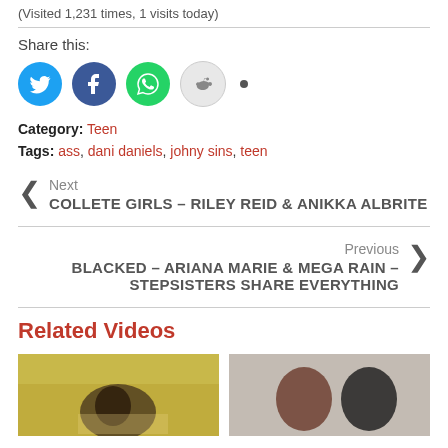(Visited 1,231 times, 1 visits today)
Share this:
[Figure (infographic): Social share icons: Twitter (blue), Facebook (dark blue), WhatsApp (green), Reddit (light grey), and a small dot]
Category: Teen
Tags: ass, dani daniels, johny sins, teen
Next
COLLETE GIRLS – RILEY REID & ANIKKA ALBRITE
Previous
BLACKED – ARIANA MARIE & MEGA RAIN – STEPSISTERS SHARE EVERYTHING
Related Videos
[Figure (photo): Two thumbnail images of related videos]